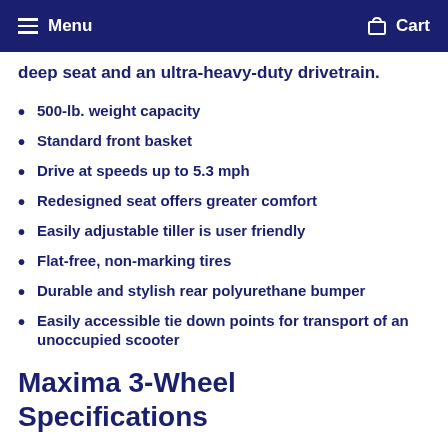Menu  Cart
deep seat and an ultra-heavy-duty drivetrain.
500-lb. weight capacity
Standard front basket
Drive at speeds up to 5.3 mph
Redesigned seat offers greater comfort
Easily adjustable tiller is user friendly
Flat-free, non-marking tires
Durable and stylish rear polyurethane bumper
Easily accessible tie down points for transport of an unoccupied scooter
Maxima 3-Wheel Specifications